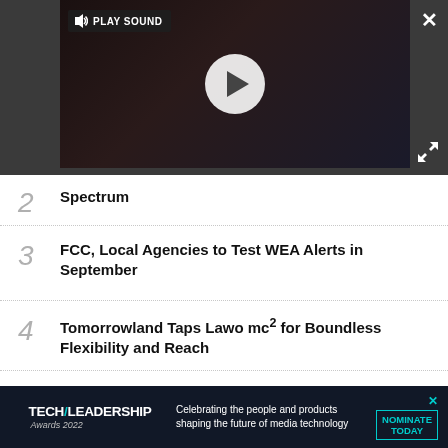[Figure (screenshot): Video player with play button and PLAY SOUND label on dark background]
2 Spectrum
3 FCC, Local Agencies to Test WEA Alerts in September
4 Tomorrowland Taps Lawo mc² for Boundless Flexibility and Reach
5 Enhancing Hybrid Event Audio With Blackmagic Design
[Figure (screenshot): Tech Leadership Awards 2022 advertisement banner — Celebrating the people and products shaping the future of media technology — NOMINATE TODAY]